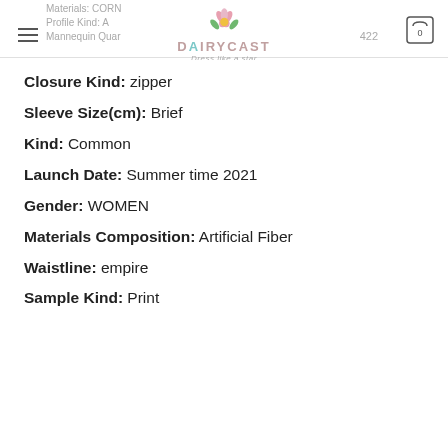Materials: CORN Profile Kind: A Mannequin Quar 422 DAIRYCAST Dress like a star
Closure Kind: zipper
Sleeve Size(cm): Brief
Kind: Common
Launch Date: Summer time 2021
Gender: WOMEN
Materials Composition: Artificial Fiber
Waistline: empire
Sample Kind: Print